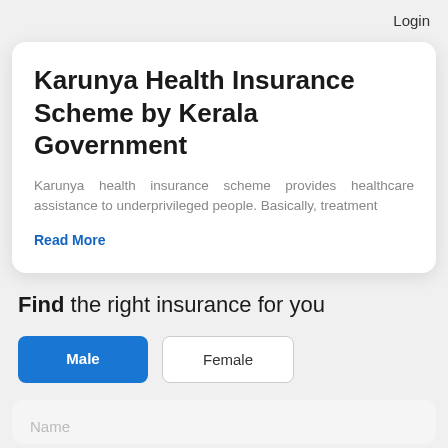Login
Karunya Health Insurance Scheme by Kerala Government
Karunya health insurance scheme provides healthcare assistance to underprivileged people. Basically, treatment
Read More
Find the right insurance for you
Male
Female
Name